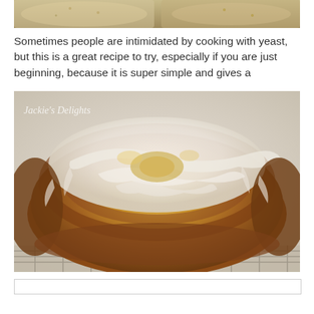[Figure (photo): Partial top image of baked goods, likely corn bread or yellow cake, cropped at top of page]
Sometimes people are intimidated by cooking with yeast, but this is a great recipe to try, especially if you are just beginning, because it is super simple and gives a
[Figure (photo): Close-up photo of a frosted cinnamon roll with white cream cheese icing, golden-brown exterior, with watermark text 'Jackie's Delights' in top-left corner]